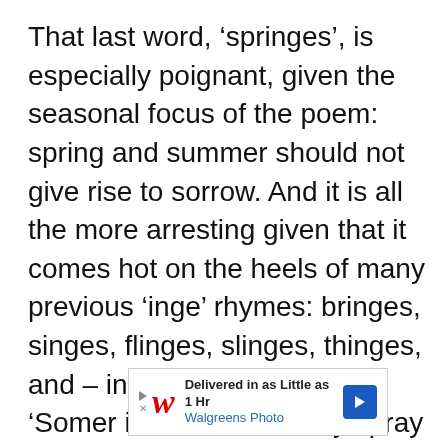That last word, ‘springes’, is especially poignant, given the seasonal focus of the poem: spring and summer should not give rise to sorrow. And it is all the more arresting given that it comes hot on the heels of many previous ‘inge’ rhymes: bringes, singes, flinges, slinges, thinges, and – indeed – springes: ‘Somer is come, for euery spray nowe springes’.
[Figure (other): Walgreens Photo advertisement banner: 'Delivered in as Little as 1 Hr / Walgreens Photo' with Walgreens cursive W logo in red and a blue arrow button.]